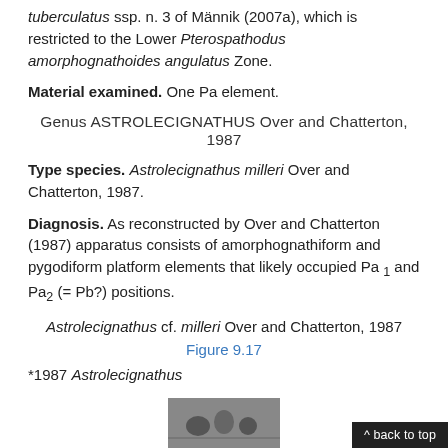tuberculatus ssp. n. 3 of Männik (2007a), which is restricted to the Lower Pterospathodus amorphognathoides angulatus Zone.
Material examined. One Pa element.
Genus ASTROLECIGNATHUS Over and Chatterton, 1987
Type species. Astrolecignathus milleri Over and Chatterton, 1987.
Diagnosis. As reconstructed by Over and Chatterton (1987) apparatus consists of amorphognathiform and pygodiform platform elements that likely occupied Pa 1 and Pa2 (= Pb?) positions.
Astrolecignathus cf. milleri Over and Chatterton, 1987
Figure 9.17
*1987 Astrolecignathus
[Figure (photo): Small thumbnail photograph, partially visible at bottom right of page]
^ back to top